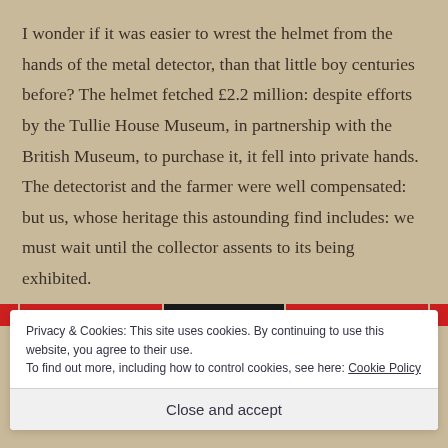I wonder if it was easier to wrest the helmet from the hands of the metal detector, than that little boy centuries before? The helmet fetched £2.2 million: despite efforts by the Tullie House Museum, in partnership with the British Museum, to purchase it, it fell into private hands. The detectorist and the farmer were well compensated: but us, whose heritage this astounding find includes: we must wait until the collector assents to its being exhibited.
[Figure (screenshot): Partial view of a webpage banner strip showing red and black horizontal color bands]
Privacy & Cookies: This site uses cookies. By continuing to use this website, you agree to their use.
To find out more, including how to control cookies, see here: Cookie Policy
Close and accept